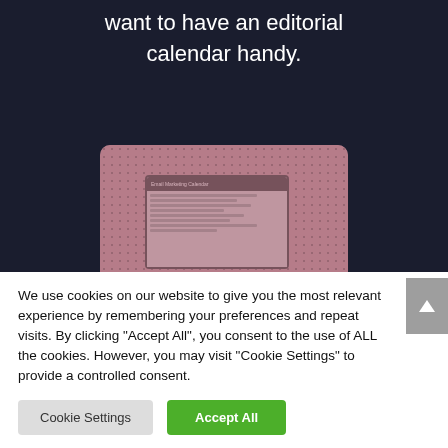want to have an editorial calendar handy.
[Figure (photo): A tablet device displaying a 'Email Marketing Calendar' spreadsheet, with a rosé/mauve color overlay, set on a desk with a dotted background.]
We use cookies on our website to give you the most relevant experience by remembering your preferences and repeat visits. By clicking "Accept All", you consent to the use of ALL the cookies. However, you may visit "Cookie Settings" to provide a controlled consent.
Cookie Settings
Accept All